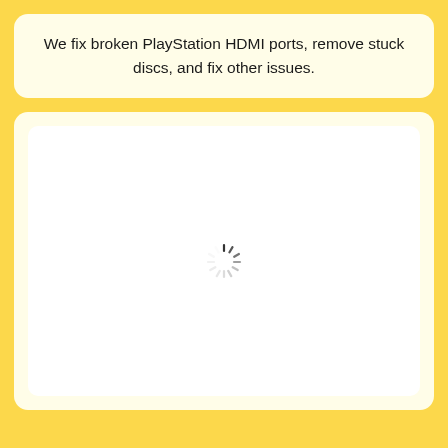We fix broken PlayStation HDMI ports, remove stuck discs, and fix other issues.
[Figure (other): A loading spinner (circular dashed loading indicator) displayed in the center of a white rounded-corner box on a light yellow background.]